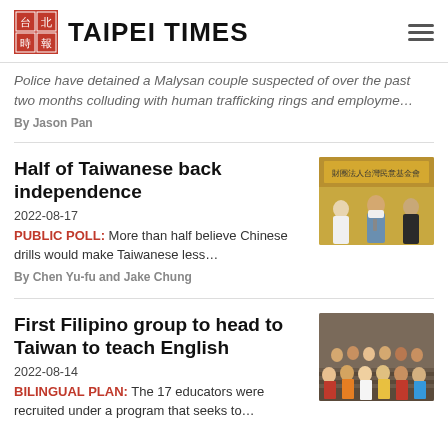TAIPEI TIMES
Police have detained a Malysan couple suspected of over the past two months colluding with human trafficking rings and employme…
By Jason Pan
Half of Taiwanese back independence
2022-08-17
PUBLIC POLL: More than half believe Chinese drills would make Taiwanese less…
By Chen Yu-fu and Jake Chung
[Figure (photo): Press conference photo with people wearing masks and holding microphones, banner in Chinese in background]
First Filipino group to head to Taiwan to teach English
2022-08-14
BILINGUAL PLAN: The 17 educators were recruited under a program that seeks to…
[Figure (photo): Group photo of multiple people posing together on stairs]